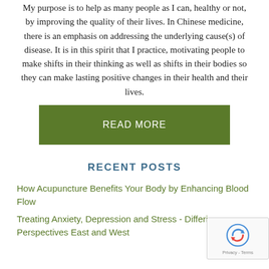My purpose is to help as many people as I can, healthy or not, by improving the quality of their lives. In Chinese medicine, there is an emphasis on addressing the underlying cause(s) of disease. It is in this spirit that I practice, motivating people to make shifts in their thinking as well as shifts in their bodies so they can make lasting positive changes in their health and their lives.
[Figure (other): Green READ MORE button]
RECENT POSTS
How Acupuncture Benefits Your Body by Enhancing Blood Flow
Treating Anxiety, Depression and Stress - Differing Perspectives East and West